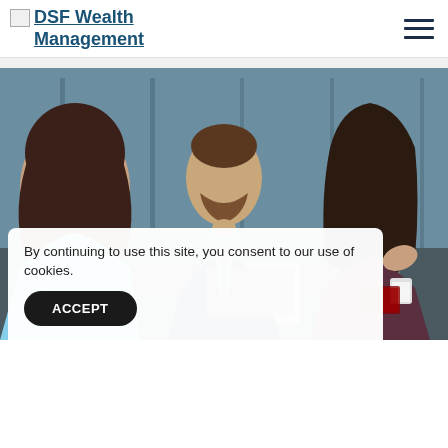DSF Wealth Management
[Figure (photo): Three business professionals having a meeting around a table with a laptop. Two women and one bearded man in a suit and tie, in a modern glass-walled office.]
By continuing to use this site, you consent to our use of cookies.
ACCEPT